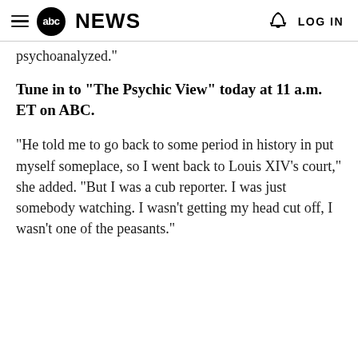abc NEWS  LOG IN
psychoanalyzed."
Tune in to "The Psychic View" today at 11 a.m. ET on ABC.
"He told me to go back to some period in history in put myself someplace, so I went back to Louis XIV's court," she added. "But I was a cub reporter. I was just somebody watching. I wasn't getting my head cut off, I wasn't one of the peasants."